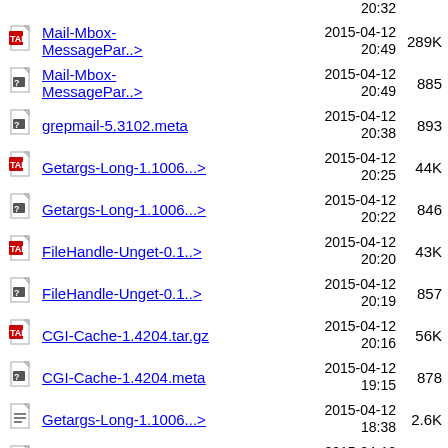20:32
Mail-Mbox-MessagePar..> 2015-04-12 20:49 289K
Mail-Mbox-MessagePar..> 2015-04-12 20:49 885
grepmail-5.3102.meta 2015-04-12 20:38 893
Getargs-Long-1.1006...> 2015-04-12 20:25 44K
Getargs-Long-1.1006...> 2015-04-12 20:22 846
FileHandle-Unget-0.1..> 2015-04-12 20:20 43K
FileHandle-Unget-0.1..> 2015-04-12 20:19 857
CGI-Cache-1.4204.tar.gz 2015-04-12 20:16 56K
CGI-Cache-1.4204.meta 2015-04-12 19:15 878
Getargs-Long-1.1006...> 2015-04-12 18:38 2.6K
Module-Install-Check..> 2015-04-12 18:29 961